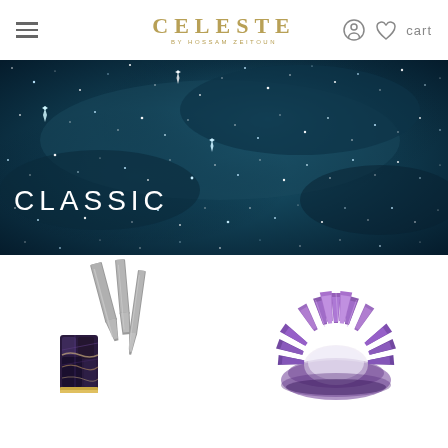CELESTE BY HOSSAM ZEITOUN — navigation with hamburger menu, user icon, heart icon, cart
[Figure (photo): Dark teal starry night sky banner with text CLASSIC overlaid in white]
CLASSIC
[Figure (photo): Amethyst crystal cheese knife set with dark purple crystal handles and silver blades]
[Figure (photo): Amethyst crystal cluster candle holder ring in purple tones]